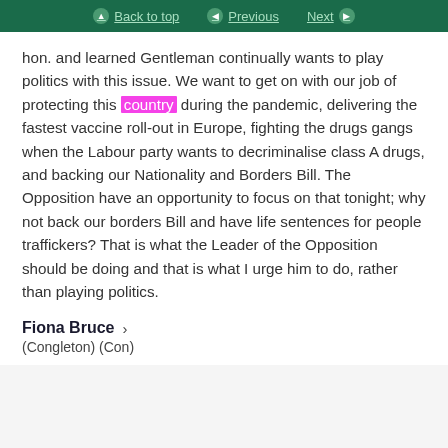Back to top | Previous | Next
hon. and learned Gentleman continually wants to play politics with this issue. We want to get on with our job of protecting this country during the pandemic, delivering the fastest vaccine roll-out in Europe, fighting the drugs gangs when the Labour party wants to decriminalise class A drugs, and backing our Nationality and Borders Bill. The Opposition have an opportunity to focus on that tonight; why not back our borders Bill and have life sentences for people traffickers? That is what the Leader of the Opposition should be doing and that is what I urge him to do, rather than playing politics.
Fiona Bruce
(Congleton) (Con)